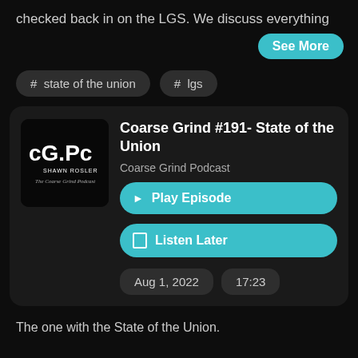checked back in on the LGS. We discuss everything
See More
# state of the union
# lgs
Coarse Grind #191- State of the Union
Coarse Grind Podcast
Play Episode
Listen Later
Aug 1, 2022
17:23
The one with the State of the Union.